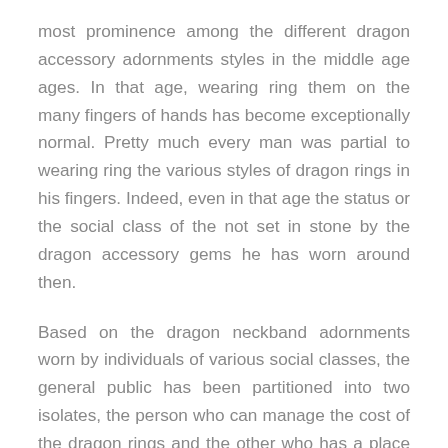most prominence among the different dragon accessory adornments styles in the middle age ages. In that age, wearing ring them on the many fingers of hands has become exceptionally normal. Pretty much every man was partial to wearing ring the various styles of dragon rings in his fingers. Indeed, even in that age the status or the social class of the not set in stone by the dragon accessory gems he has worn around then.
Based on the dragon neckband adornments worn by individuals of various social classes, the general public has been partitioned into two isolates, the person who can manage the cost of the dragon rings and the other who has a place with the lower class of the general public and they cannot bear the cost of the dragon rings. These dragon rings are considered as a component of